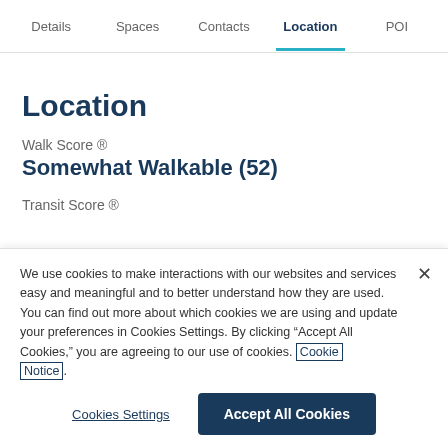Details  Spaces  Contacts  Location  POI
Location
Walk Score ®
Somewhat Walkable (52)
Transit Score ®
We use cookies to make interactions with our websites and services easy and meaningful and to better understand how they are used. You can find out more about which cookies we are using and update your preferences in Cookies Settings. By clicking "Accept All Cookies," you are agreeing to our use of cookies. Cookie Notice.
Cookies Settings
Accept All Cookies